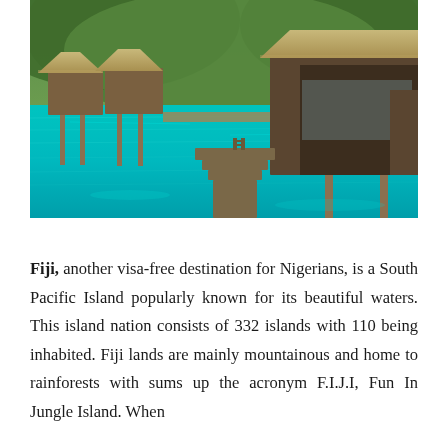[Figure (photo): Overwater bungalows on turquoise water with thatched roofs, wooden walkways and staircases, with green mountains in the background — a tropical South Pacific resort.]
Fiji, another visa-free destination for Nigerians, is a South Pacific Island popularly known for its beautiful waters. This island nation consists of 332 islands with 110 being inhabited. Fiji lands are mainly mountainous and home to rainforests with sums up the acronym F.I.J.I, Fun In Jungle Island. When